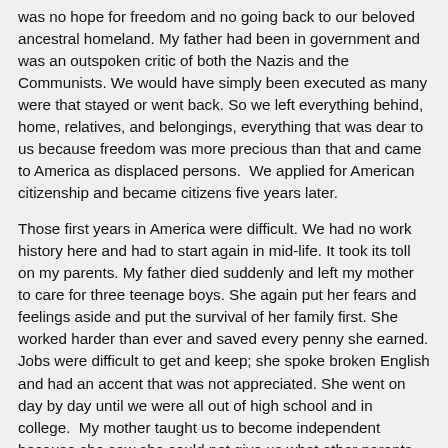was no hope for freedom and no going back to our beloved ancestral homeland. My father had been in government and was an outspoken critic of both the Nazis and the Communists. We would have simply been executed as many were that stayed or went back. So we left everything behind, home, relatives, and belongings, everything that was dear to us because freedom was more precious than that and came to America as displaced persons.  We applied for American citizenship and became citizens five years later.
Those first years in America were difficult. We had no work history here and had to start again in mid-life. It took its toll on my parents. My father died suddenly and left my mother to care for three teenage boys. She again put her fears and feelings aside and put the survival of her family first. She worked harder than ever and saved every penny she earned. Jobs were difficult to get and keep; she spoke broken English and had an accent that was not appreciated. She went on day by day until we were all out of high school and in college.  My mother taught us to become independent because she saw she could not give us what other parents could and we would have to earn that for ourselves. Because of her love and dedication we